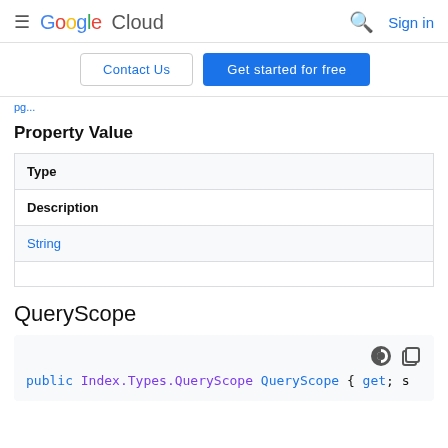Google Cloud  Sign in
Contact Us   Get started for free
Property Value
| Type | Description |
| --- | --- |
| String |  |
QueryScope
public Index.Types.QueryScope QueryScope { get; s